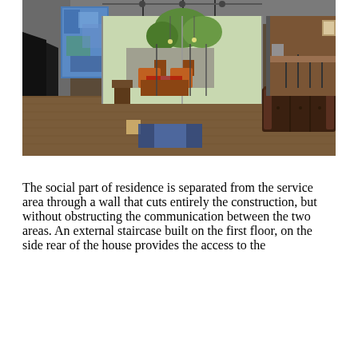[Figure (photo): Interior photo of a modern open-plan living space with wood floors, leather sofa, seating area with orange chairs around a coffee table, large abstract blue painting on the left wall, fireplace, and a courtyard/outdoor area visible through large glass sliding doors in the background. Bar/dining area visible on the right.]
The social part of residence is separated from the service area through a wall that cuts entirely the construction, but without obstructing the communication between the two areas. An external staircase built on the first floor, on the side rear of the house provides the access to the